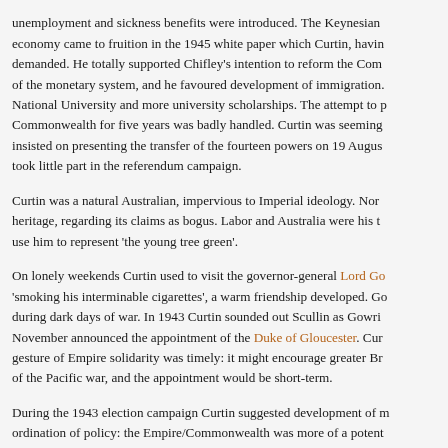unemployment and sickness benefits were introduced. The Keynesian economy came to fruition in the 1945 white paper which Curtin, having demanded. He totally supported Chifley's intention to reform the Com of the monetary system, and he favoured development of immigration. National University and more university scholarships. The attempt to p Commonwealth for five years was badly handled. Curtin was seeming insisted on presenting the transfer of the fourteen powers on 19 Augus took little part in the referendum campaign.
Curtin was a natural Australian, impervious to Imperial ideology. Nor heritage, regarding its claims as bogus. Labor and Australia were his t use him to represent 'the young tree green'.
On lonely weekends Curtin used to visit the governor-general Lord Go 'smoking his interminable cigarettes', a warm friendship developed. Ge during dark days of war. In 1943 Curtin sounded out Scullin as Gowri November announced the appointment of the Duke of Gloucester. Cur gesture of Empire solidarity was timely: it might encourage greater Br of the Pacific war, and the appointment would be short-term.
During the 1943 election campaign Curtin suggested development of m ordination of policy: the Empire/Commonwealth was more of a potent